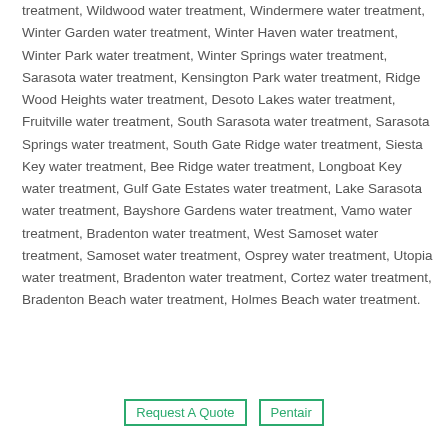treatment, Wildwood water treatment, Windermere water treatment, Winter Garden water treatment, Winter Haven water treatment, Winter Park water treatment, Winter Springs water treatment, Sarasota water treatment, Kensington Park water treatment, Ridge Wood Heights water treatment, Desoto Lakes water treatment, Fruitville water treatment, South Sarasota water treatment, Sarasota Springs water treatment, South Gate Ridge water treatment, Siesta Key water treatment, Bee Ridge water treatment, Longboat Key water treatment, Gulf Gate Estates water treatment, Lake Sarasota water treatment, Bayshore Gardens water treatment, Vamo water treatment, Bradenton water treatment, West Samoset water treatment, Samoset water treatment, Osprey water treatment, Utopia water treatment, Bradenton water treatment, Cortez water treatment, Bradenton Beach water treatment, Holmes Beach water treatment.
Request A Quote
Pentair